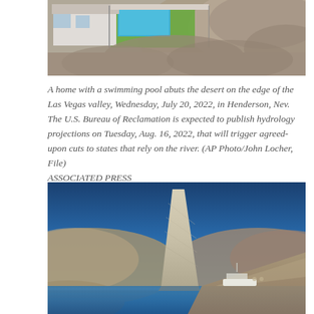[Figure (photo): Aerial view of a home with a swimming pool and green lawn abutting the desert landscape on the edge of the Las Vegas valley, Henderson, Nevada]
A home with a swimming pool abuts the desert on the edge of the Las Vegas valley, Wednesday, July 20, 2022, in Henderson, Nev. The U.S. Bureau of Reclamation is expected to publish hydrology projections on Tuesday, Aug. 16, 2022, that will trigger agreed-upon cuts to states that rely on the river. (AP Photo/John Locher, File)
ASSOCIATED PRESS
[Figure (photo): A partially sunken boat hull emerges from the low water level of Lake Mead, with a small white boat visible in the background and arid hillsides, showing the effects of drought]